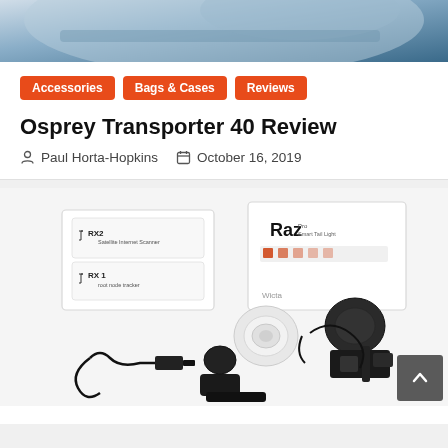[Figure (photo): Top banner photo of a blue bag/backpack, partially visible]
Accessories
Bags & Cases
Reviews
Osprey Transporter 40 Review
Paul Horta-Hopkins   October 16, 2019
[Figure (photo): Product photo showing unboxed cycling accessories: two white product boxes labeled RX1/RX2 and Raz smart tail light, along with various small devices, cables, USB charger, mounts, and electronic components laid out on a white surface]